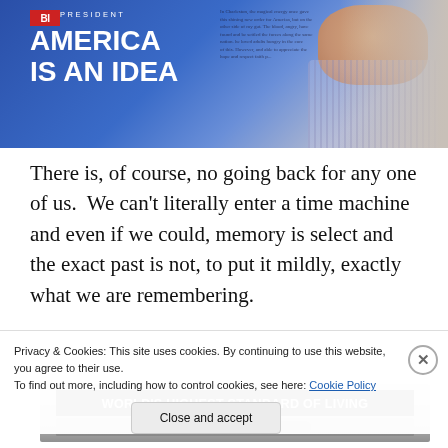[Figure (photo): A political campaign image showing 'BIDEN PRESIDENT' text with 'AMERICA IS AN IDEA' in large white bold text on a blue background, with a partial face visible on the right side and small body text overlaid]
There is, of course, no going back for any one of us.  We can't literally enter a time machine and even if we could, memory is select and the exact past is not, to put it mildly, exactly what we are remembering.
[Figure (photo): A black and white photograph showing a billboard or sign reading 'WORLD'S HIGHEST STANDARD OF LIVING' with cars visible below]
Privacy & Cookies: This site uses cookies. By continuing to use this website, you agree to their use.
To find out more, including how to control cookies, see here: Cookie Policy
Close and accept